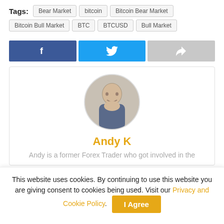Tags: Bear Market  bitcoin  Bitcoin Bear Market  Bitcoin Bull Market  BTC  BTCUSD  Bull Market
[Figure (other): Social share buttons: Facebook (blue), Twitter (light blue), Share/forward (gray)]
[Figure (photo): Circular author profile photo of a bald man leaning on his hand in a white room]
Andy K
Andy is a former Forex Trader who got involved in the
This website uses cookies. By continuing to use this website you are giving consent to cookies being used. Visit our Privacy and Cookie Policy.
I Agree